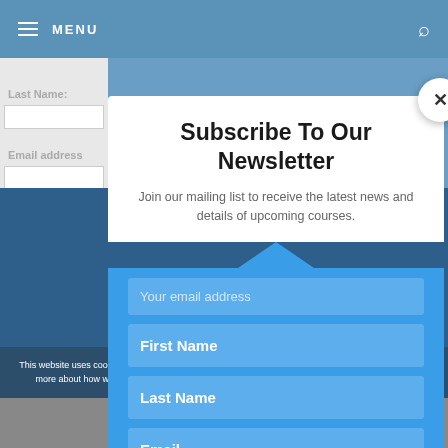MENU
[Figure (screenshot): Website screenshot showing navigation bar with MENU and search icon, partially visible form fields for Last Name and Email address behind the modal]
Subscribe To Our Newsletter
Join our mailing list to receive the latest news and details of upcoming courses.
Your email address
First Name
Last Name
Email
This website uses cookies. we assume you are OK with this but you can opt-out if you want. To find out more about how we use cookies and how we made them, read our privacy and cookie policies.
Share This